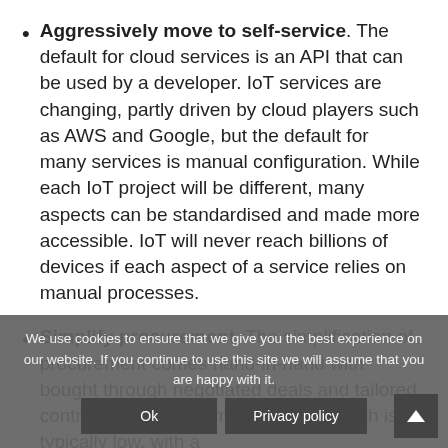Aggressively move to self-service. The default for cloud services is an API that can be used by a developer. IoT services are changing, partly driven by cloud players such as AWS and Google, but the default for many services is manual configuration. While each IoT project will be different, many aspects can be standardised and made more accessible. IoT will never reach billions of devices if each aspect of a service relies on manual processes.
Simplify procurement. The simplification of procurement comes hand-in-hand with bought through negotiated deals and tailored contracts, bought from a list price, which is typically low, with a...